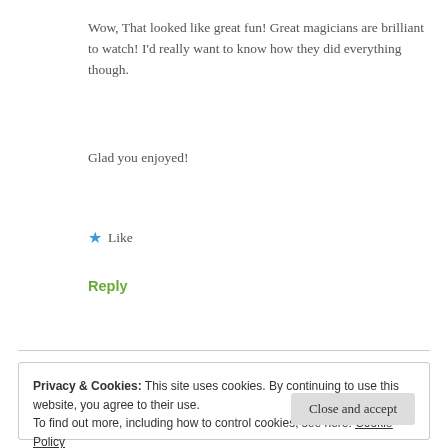Wow, That looked like great fun! Great magicians are brilliant to watch! I'd really want to know how they did everything though.
Glad you enjoyed!
★ Like
Reply
Privacy & Cookies: This site uses cookies. By continuing to use this website, you agree to their use.
To find out more, including how to control cookies, see here: Cookie Policy
Close and accept